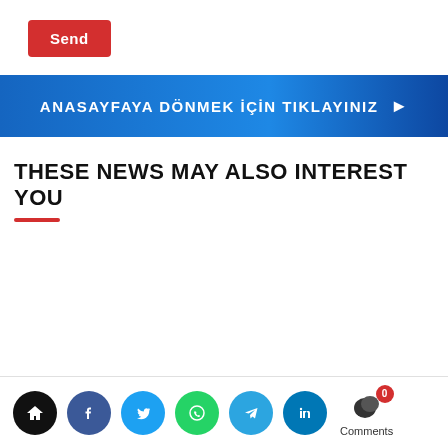[Figure (other): Red 'Send' button]
[Figure (other): Blue gradient banner with Turkish text 'ANASAYFAYA DÖNMEK İÇIN TIKLAYINIZ' and a right arrow]
THESE NEWS MAY ALSO INTEREST YOU
[Figure (other): Bottom navigation bar with social media icon circles: home (black), Facebook (blue), Twitter (light blue), WhatsApp (green), Telegram (blue), LinkedIn (dark blue), and a Comments icon with badge showing 0]